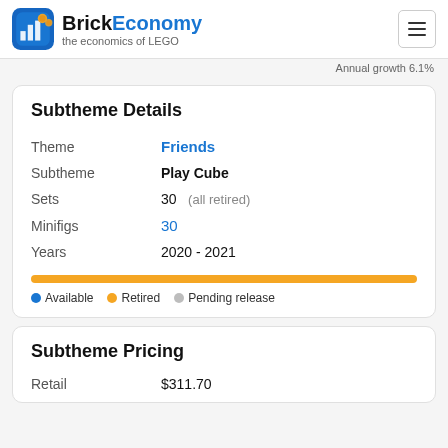BrickEconomy — the economics of LEGO
Annual growth 6.1%
Subtheme Details
| Field | Value |
| --- | --- |
| Theme | Friends |
| Subtheme | Play Cube |
| Sets | 30  (all retired) |
| Minifigs | 30 |
| Years | 2020 - 2021 |
[Figure (infographic): Horizontal progress bar filled fully in yellow/orange, with a legend below showing: blue dot = Available, yellow dot = Retired, gray dot = Pending release]
Subtheme Pricing
Retail   $311.70